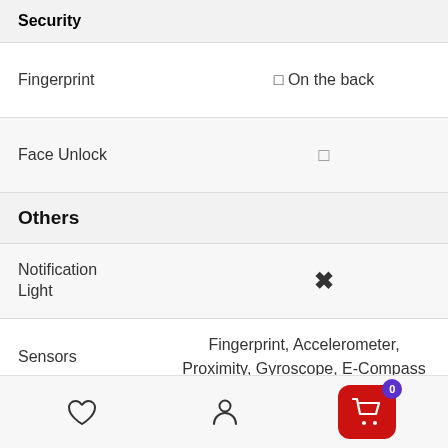Security
| Feature | Value |
| --- | --- |
| Fingerprint | 🔲 On the back |
| Face Unlock | 🔲 |
Others
| Feature | Value |
| --- | --- |
| Notification Light | ✖ |
| Sensors | Fingerprint, Accelerometer, Proximity, Gyroscope, E-Compass |
| Manufactured by | Samsung |
Navigation bar with heart, person, and cart (0) icons